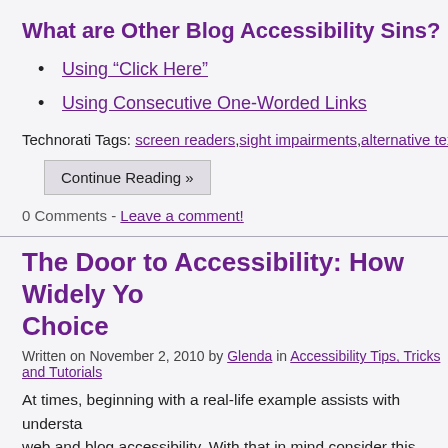What are Other Blog Accessibility Sins?
Using “Click Here”
Using Consecutive One-Worded Links
Technorati Tags: screen readers,sight impairments,alternative tex
Continue Reading »
0 Comments - Leave a comment!
The Door to Accessibility: How Widely Yo Choice
Written on November 2, 2010 by Glenda in Accessibility Tips, Tricks and Tutorials
At times, beginning with a real-life example assists with understa web and blog accessibility. With that in mind consider this examp offered to individuals requiring assistance with opening a store de